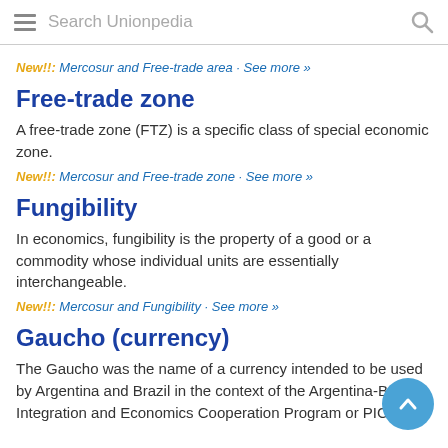Search Unionpedia
New!!: Mercosur and Free-trade area · See more »
Free-trade zone
A free-trade zone (FTZ) is a specific class of special economic zone.
New!!: Mercosur and Free-trade zone · See more »
Fungibility
In economics, fungibility is the property of a good or a commodity whose individual units are essentially interchangeable.
New!!: Mercosur and Fungibility · See more »
Gaucho (currency)
The Gaucho was the name of a currency intended to be used by Argentina and Brazil in the context of the Argentina-Brazil Integration and Economics Cooperation Program or PICE